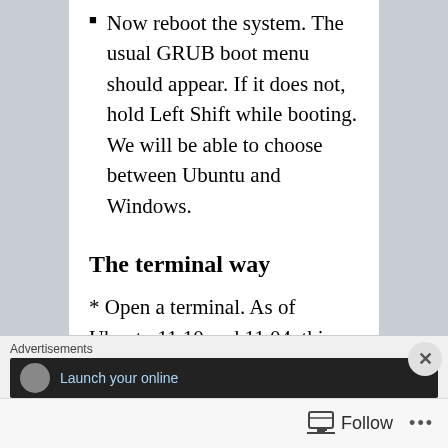Now reboot the system. The usual GRUB boot menu should appear. If it does not, hold Left Shift while booting. We will be able to choose between Ubuntu and Windows.
The terminal way
* Open a terminal. As of Ubuntu 11.10 and 11.04, this can be done by opening the Unity Dash ( click the Ubuntu logo at the top of the...
Advertisements  Launch your online...